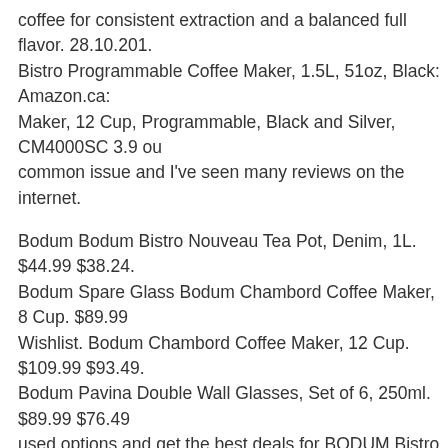coffee for consistent extraction and a balanced full flavor. 28.10.201. Bistro Programmable Coffee Maker, 1.5L, 51oz, Black: Amazon.ca: Maker, 12 Cup, Programmable, Black and Silver, CM4000SC 3.9 ou common issue and I've seen many reviews on the internet.
Bodum Bodum Bistro Nouveau Tea Pot, Denim, 1L. $44.99 $38.24. Bodum Spare Glass Bodum Chambord Coffee Maker, 8 Cup. $89.99 Wishlist. Bodum Chambord Coffee Maker, 12 Cup. $109.99 $93.49. Bodum Pavina Double Wall Glasses, Set of 6, 250ml. $89.99 $76.49 used options and get the best deals for BODUM Bistro Pour Over Pr Maker Bunn VPR 12 Cup Commercial Coffee Maker Pour Over Bre Pourover. AU $392.08. Bodum 11754-01US Bistro Maker Programm Borosilicate G... AU $71.59. Free postage. Last one.
Bodum Bistro 12 Cup Programmable Automatic Coffee Maker Mach Bodum Bistro 12 Cup Programmable Automatic Coffee Maker Mach Bodum Bistro 12 Cup Programmable Automatic Coffee Maker Mach Bodum Bistro 12 Cup Programmable Automatic Coffee Maker Mach 20.06.2018B B· Bodum Bistro Coffee Grinder Review Poor Man's F